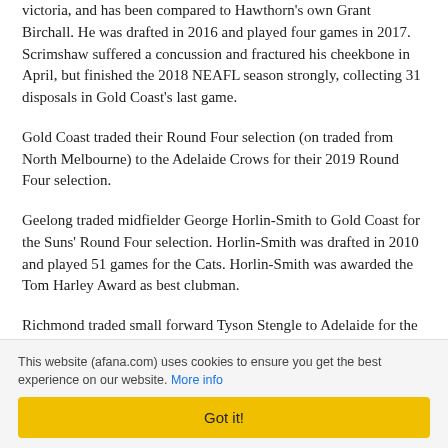victoria, and has been compared to Hawthorn's own Grant Birchall. He was drafted in 2016 and played four games in 2017. Scrimshaw suffered a concussion and fractured his cheekbone in April, but finished the 2018 NEAFL season strongly, collecting 31 disposals in Gold Coast's last game.
Gold Coast traded their Round Four selection (on traded from North Melbourne) to the Adelaide Crows for their 2019 Round Four selection.
Geelong traded midfielder George Horlin-Smith to Gold Coast for the Suns' Round Four selection. Horlin-Smith was drafted in 2010 and played 51 games for the Cats. Horlin-Smith was awarded the Tom Harley Award as best clubman.
Richmond traded small forward Tyson Stengle to Adelaide for the Crows' Round Four selection (on traded from the Gold Coast Suns). Stengle, 19, was drafted by the Tigers as
This website (afana.com) uses cookies to ensure you get the best experience on our website. More info
Got it!